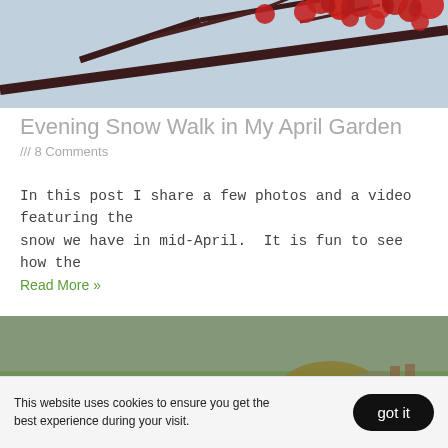[Figure (photo): Close-up of red blossoms on dark branches against a blurred grey-blue background]
Evening Snow Walk in My April Garden
/// 8 Comments
In this post I share a few photos and a video featuring the snow we have in mid-April.  It is fun to see how the
Read More »
[Figure (photo): Garden path made of stone pavers winding through shrubs and autumn foliage in a naturalistic garden setting]
This website uses cookies to ensure you get the best experience during your visit.